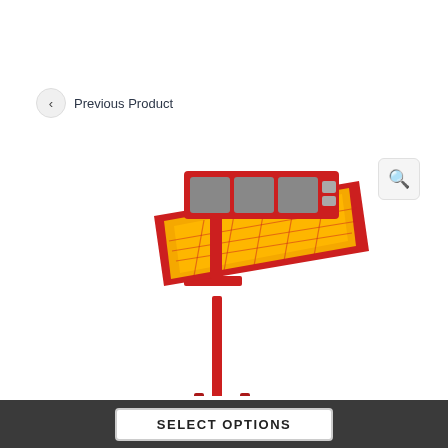Previous Product
[Figure (photo): A red industrial LED grow light on a red adjustable stand/pole. The light panel emits bright orange-yellow light. The unit has a control box on top with switches and display panels. It is photographed on a white background.]
SELECT OPTIONS